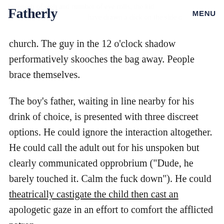Fatherly | MENU
church. The guy in the 12 o'clock shadow performatively skooches the bag away. People brace themselves.
The boy’s father, waiting in line nearby for his drink of choice, is presented with three discreet options. He could ignore the interaction altogether. He could call the adult out for his unspoken but clearly communicated opprobrium (“Dude, he barely touched it. Calm the fuck down”). He could theatrically castigate the child then cast an apologetic gaze in an effort to comfort the afflicted patron.